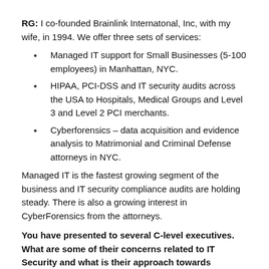RG: I co-founded Brainlink Internatonal, Inc, with my wife, in 1994. We offer three sets of services:
Managed IT support for Small Businesses (5-100 employees) in Manhattan, NYC.
HIPAA, PCI-DSS and IT security audits across the USA to Hospitals, Medical Groups and Level 3 and Level 2 PCI merchants.
Cyberforensics – data acquisition and evidence analysis to Matrimonial and Criminal Defense attorneys in NYC.
Managed IT is the fastest growing segment of the business and IT security compliance audits are holding steady. There is also a growing interest in CyberForensics from the attorneys.
You have presented to several C-level executives. What are some of their concerns related to IT Security and what is their approach towards organizational risk mitigation?